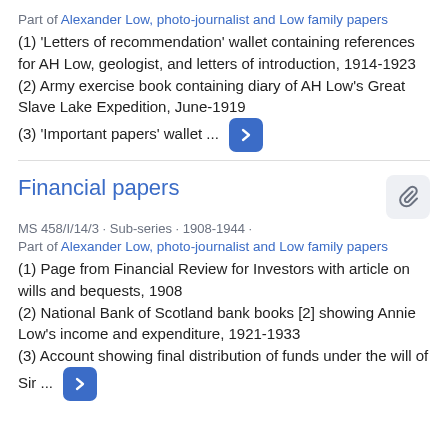Part of Alexander Low, photo-journalist and Low family papers
(1) 'Letters of recommendation' wallet containing references for AH Low, geologist, and letters of introduction, 1914-1923
(2) Army exercise book containing diary of AH Low's Great Slave Lake Expedition, June-1919
(3) 'Important papers' wallet ...
Financial papers
MS 458/I/14/3 · Sub-series · 1908-1944 ·
Part of Alexander Low, photo-journalist and Low family papers
(1) Page from Financial Review for Investors with article on wills and bequests, 1908
(2) National Bank of Scotland bank books [2] showing Annie Low's income and expenditure, 1921-1933
(3) Account showing final distribution of funds under the will of Sir ...